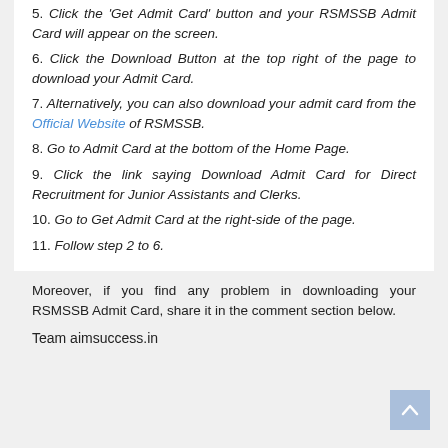5. Click the 'Get Admit Card' button and your RSMSSB Admit Card will appear on the screen.
6. Click the Download Button at the top right of the page to download your Admit Card.
7. Alternatively, you can also download your admit card from the Official Website of RSMSSB.
8. Go to Admit Card at the bottom of the Home Page.
9. Click the link saying Download Admit Card for Direct Recruitment for Junior Assistants and Clerks.
10. Go to Get Admit Card at the right-side of the page.
11. Follow step 2 to 6.
Moreover, if you find any problem in downloading your RSMSSB Admit Card, share it in the comment section below.
Team aimsuccess.in